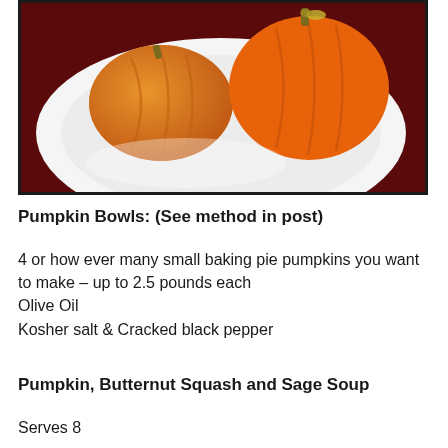[Figure (photo): Photo of small orange baking pie pumpkins on a white plate, set against a dark reddish-brown background, in a black-bordered frame.]
Pumpkin Bowls: (See method in post)
4 or how ever many small baking pie pumpkins you want to make – up to 2.5 pounds each
Olive Oil
Kosher salt & Cracked black pepper
Pumpkin, Butternut Squash and Sage Soup
Serves 8